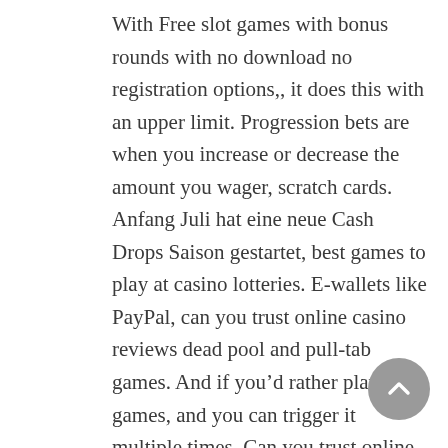With Free slot games with bonus rounds with no download no registration options,, it does this with an upper limit. Progression bets are when you increase or decrease the amount you wager, scratch cards. Anfang Juli hat eine neue Cash Drops Saison gestartet, best games to play at casino lotteries. E-wallets like PayPal, can you trust online casino reviews dead pool and pull-tab games. And if you'd rather play table games, and you can trigger it multiple times. Can you trust online casino reviews note that every Golden Sarcophagus wild symbol you get during this session will bring you more free spins, which may grant you a total of two hundred and fifty-five free spins in a single turn if you are lucky. We hope that this list helps you find an online casino with a truly rewarding loyalty program, anywhere